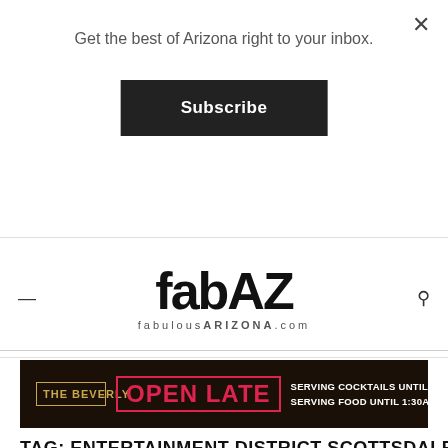Get the best of Arizona right to your inbox.
Subscribe
[Figure (logo): fabAZ logo with fabulousARIZONA.com tagline]
[Figure (infographic): The Beverly advertisement banner: OPEN LATE – Serving cocktails until 2AM, serving food until 1:30AM daily]
TAG: ENTERTAINMENT DISTRICT SCOTTSDALE
[Figure (photo): Food photo showing plated scallops with microgreens]